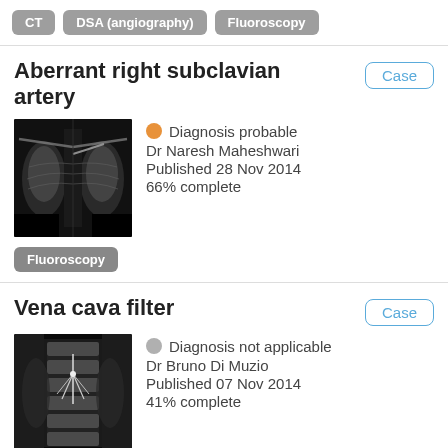CT
DSA (angiography)
Fluoroscopy
Aberrant right subclavian artery
Case
[Figure (photo): Fluoroscopy/X-ray image showing chest with aberrant right subclavian artery]
Diagnosis probable
Dr Naresh Maheshwari
Published 28 Nov 2014
66% complete
Fluoroscopy
Vena cava filter
Case
[Figure (photo): X-ray image showing vena cava filter in spine region]
Diagnosis not applicable
Dr Bruno Di Muzio
Published 07 Nov 2014
41% complete